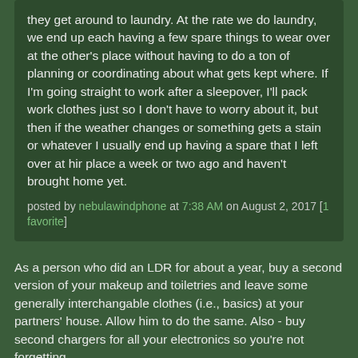they get around to laundry. At the rate we do laundry, we end up each having a few spare things to wear over at the other's place without having to do a ton of planning or coordinating about what gets kept where. If I'm going straight to work after a sleepover, I'll pack work clothes just so I don't have to worry about it, but then if the weather changes or something gets a stain or whatever I usually end up having a spare that I left over at hir place a week or two ago and haven't brought home yet.
posted by nebulawindphone at 7:38 AM on August 2, 2017 [1 favorite]
As a person who did an LDR for about a year, buy a second version of your makeup and toiletries and leave some generally interchangable clothes (i.e., basics) at your partners' house. Allow him to do the same. Also - buy second chargers for all your electronics so you're not forgetting